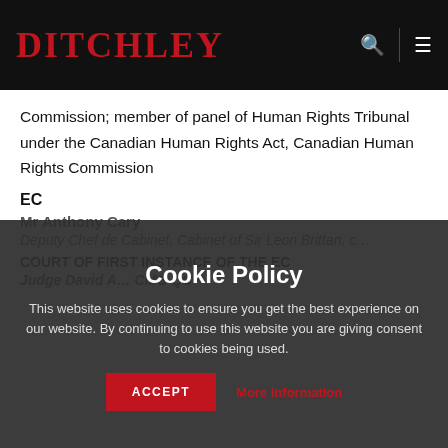DITCHLEY
Commission; member of panel of Human Rights Tribunal under the Canadian Human Rights Act, Canadian Human Rights Commission
EC
Mr Anthony Cary
Deputy Chef de Cabinet, Cabinet of Sir Leon Brittan, c…
COURT OF FIRST INSTANCE OF THE EC
Judge David A… CMG QC
Cookie Policy
This website uses cookies to ensure you get the best experience on our website. By continuing to use this website you are giving consent to cookies being used.
ACCEPT   More information